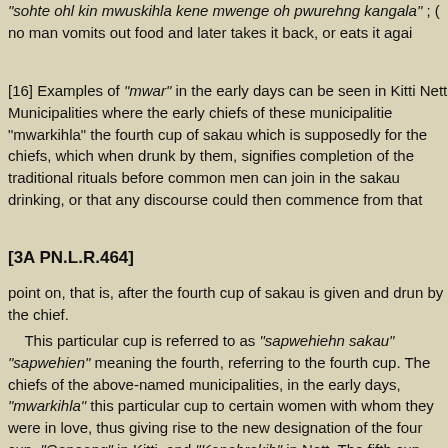"sohte ohl kin mwuskihla kene mwenge oh pwurehng kangala" ; ( no man vomits out food and later takes it back, or eats it agai
[16] Examples of "mwar" in the early days can be seen in Kitti Nett Municipalities where the early chiefs of these municipalities "mwarkihla" the fourth cup of sakau which is supposedly for the chiefs, which when drunk by them, signifies completion of the traditional rituals before common men can join in the sakau drinking, or that any discourse could then commence from tha
[3A PN.L.R.464]
point on, that is, after the fourth cup of sakau is given and drun by the chief.
This particular cup is referred to as "sapwehiehn sakau" "sapwehien" meaning the fourth, referring to the fourth cup. Th chiefs of the above-named municipalities, in the early days, "mwarkihla" this particular cup to certain women with whom the were in love, thus giving rise to the new designation of the four cup. "Oapoang" in Kitti, and "Kapahrakih" in Nett. The fifth cup then became and continues to be the "sapwehiehn sakau" in these two municipalities. These particular "mwar" made in the